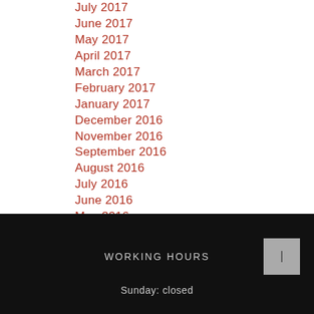July 2017
June 2017
May 2017
April 2017
March 2017
February 2017
January 2017
December 2016
November 2016
September 2016
August 2016
July 2016
June 2016
May 2016
WORKING HOURS
Sunday: closed